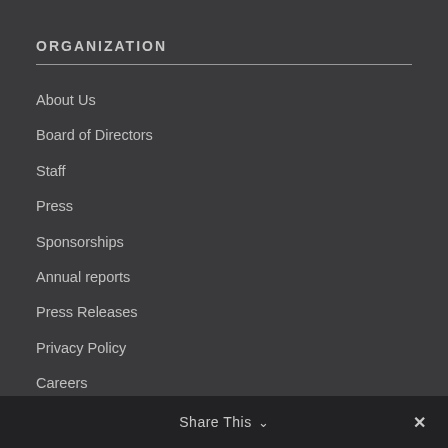ORGANIZATION
About Us
Board of Directors
Staff
Press
Sponsorships
Annual reports
Press Releases
Privacy Policy
Careers
Share This ∨  ✕